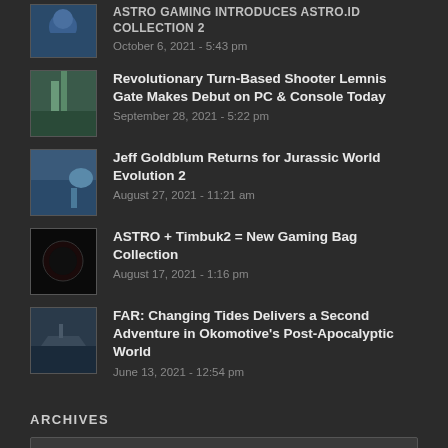ASTRO GAMING INTRODUCES ASTRO.ID COLLECTION 2 - October 6, 2021 - 5:43 pm
Revolutionary Turn-Based Shooter Lemnis Gate Makes Debut on PC & Console Today - September 28, 2021 - 5:22 pm
Jeff Goldblum Returns for Jurassic World Evolution 2 - August 27, 2021 - 11:21 am
ASTRO + Timbuk2 = New Gaming Bag Collection - August 17, 2021 - 1:16 pm
FAR: Changing Tides Delivers a Second Adventure in Okomotive's Post-Apocalyptic World - June 13, 2021 - 12:54 pm
ARCHIVES
Select Month